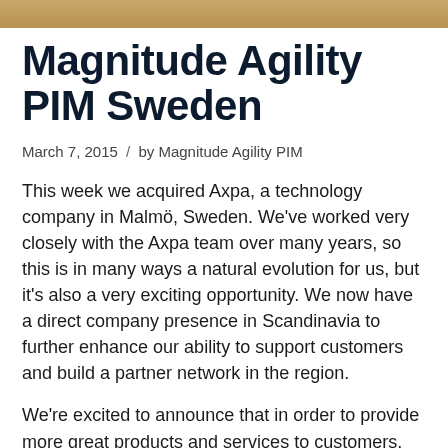[Figure (photo): Decorative header image with golden/brown gradient color band]
Magnitude Agility PIM Sweden
March 7, 2015 / by Magnitude Agility PIM
This week we acquired Axpa, a technology company in Malmö, Sweden. We've worked very closely with the Axpa team over many years, so this is in many ways a natural evolution for us, but it's also a very exciting opportunity. We now have a direct company presence in Scandinavia to further enhance our ability to support customers and build a partner network in the region.
We're excited to announce that in order to provide more great products and services to customers, this week we acquired Axpa, a